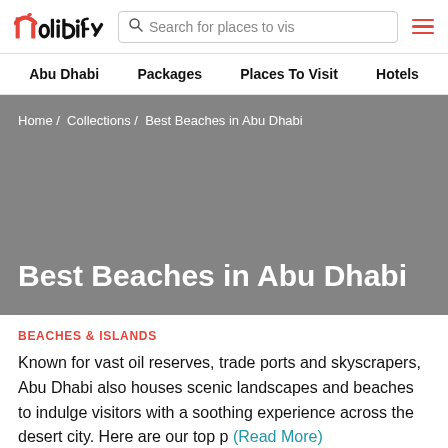holidify | Search for places to vis | menu
Abu Dhabi  Packages  Places To Visit  Hotels
[Figure (screenshot): Hero banner with gray background showing breadcrumb navigation and page title 'Best Beaches in Abu Dhabi']
BEACHES & ISLANDS
Known for vast oil reserves, trade ports and skyscrapers, Abu Dhabi also houses scenic landscapes and beaches to indulge visitors with a soothing experience across the desert city. Here are our top p (Read More)